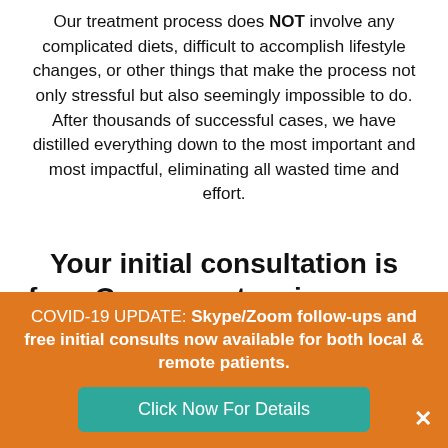Our treatment process does NOT involve any complicated diets, difficult to accomplish lifestyle changes, or other things that make the process not only stressful but also seemingly impossible to do. After thousands of successful cases, we have distilled everything down to the most important and most impactful, eliminating all wasted time and effort.
Your initial consultation is free. Come meet us in person and learn more.
COVID-19 UPDATE: Skype/Zoom follow-ups and free initial consults now available for both local & remote patients.
Click Now For Details